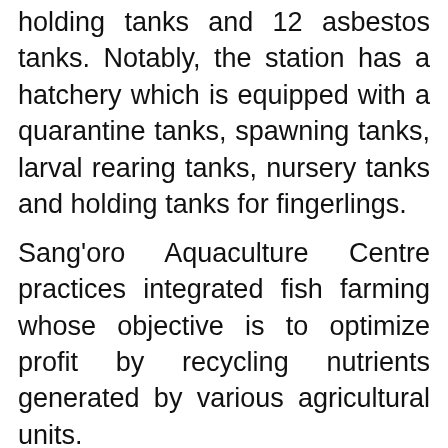holding tanks and 12 asbestos tanks. Notably, the station has a hatchery which is equipped with a quarantine tanks, spawning tanks, larval rearing tanks, nursery tanks and holding tanks for fingerlings.
Sang'oro Aquaculture Centre practices integrated fish farming whose objective is to optimize profit by recycling nutrients generated by various agricultural units.
Integrated fish farming consist of fish production unit that is involved with rearing of oversize fingerling to market size; poultry unit that provides manure for pond and meat for revenue generation; Hatchery unit that forms the fish seed production unit dealing with